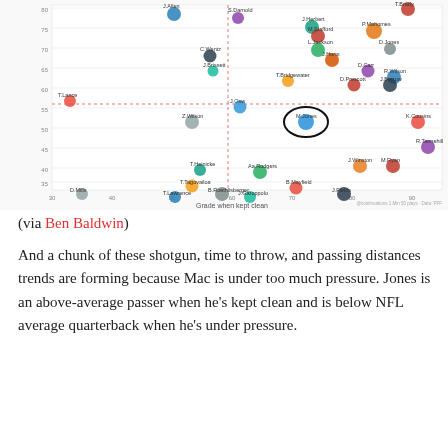[Figure (scatter-plot): Scatter plot showing NFL quarterbacks' PFF grades when kept clean (x-axis) vs under pressure (y-axis). Notable players include M.Jones (circled), P.Mahomes, J.Allen, T.Brady, T.Lawrence, D.Mills, and many others. Dashed red lines indicate average thresholds.]
(via Ben Baldwin)
And a chunk of these shotgun, time to throw, and passing distances trends are forming because Mac is under too much pressure. Jones is an above-average passer when he's kept clean and is below NFL average quarterback when he's under pressure.